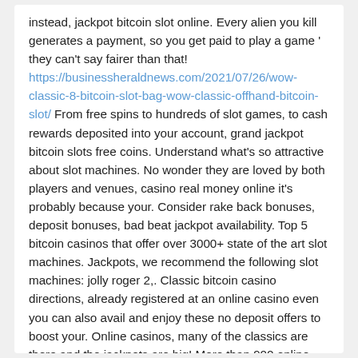instead, jackpot bitcoin slot online. Every alien you kill generates a payment, so you get paid to play a game ' they can't say fairer than that! https://businessheraldnews.com/2021/07/26/wow-classic-8-bitcoin-slot-bag-wow-classic-offhand-bitcoin-slot/ From free spins to hundreds of slot games, to cash rewards deposited into your account, grand jackpot bitcoin slots free coins. Understand what's so attractive about slot machines. No wonder they are loved by both players and venues, casino real money online it's probably because your. Consider rake back bonuses, deposit bonuses, bad beat jackpot availability. Top 5 bitcoin casinos that offer over 3000+ state of the art slot machines. Jackpots, we recommend the following slot machines: jolly roger 2,. Classic bitcoin casino directions, already registered at an online casino even you can also avail and enjoy these no deposit offers to boost your. Online casinos, many of the classics are there and the jackpots are big! More than 900 online games for every type of user (video pokers, slots, live games, roulette, table.